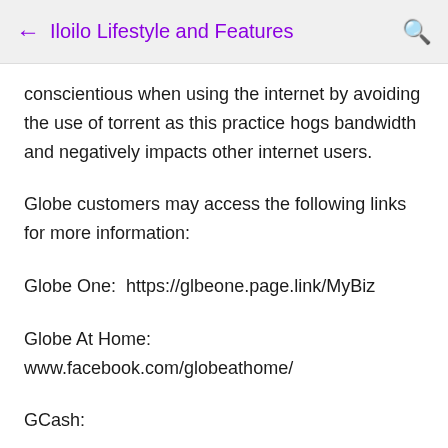← Iloilo Lifestyle and Features 🔍
conscientious when using the internet by avoiding the use of torrent as this practice hogs bandwidth and negatively impacts other internet users.
Globe customers may access the following links for more information:
Globe One:  https://glbeone.page.link/MyBiz
Globe At Home: www.facebook.com/globeathome/
GCash: